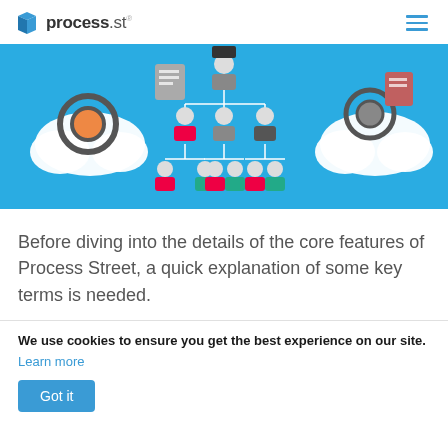process.st
[Figure (illustration): Colorful infographic showing an organizational hierarchy with cartoon people icons connected by lines, gears, clouds, and file icons on a blue background]
Before diving into the details of the core features of Process Street, a quick explanation of some key terms is needed.
We use cookies to ensure you get the best experience on our site. Learn more
Got it